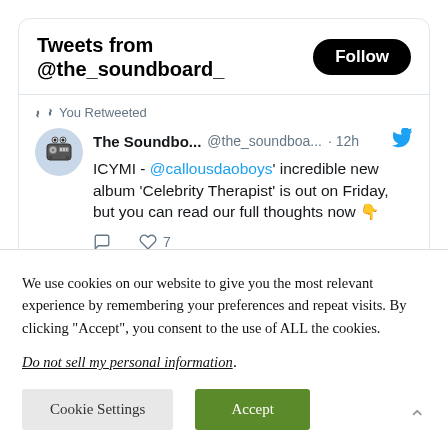Tweets from @the_soundboard_
You Retweeted
The Soundbo... @the_soundboa... · 12h — ICYMI - @callousdaoboys' incredible new album 'Celebrity Therapist' is out on Friday, but you can read our full thoughts now 👇
You Retweeted
We use cookies on our website to give you the most relevant experience by remembering your preferences and repeat visits. By clicking "Accept", you consent to the use of ALL the cookies.
Do not sell my personal information.